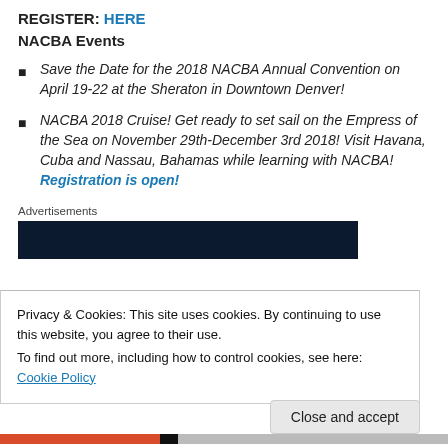REGISTER: HERE
NACBA Events
Save the Date for the 2018 NACBA Annual Convention on April 19-22 at the Sheraton in Downtown Denver!
NACBA 2018 Cruise! Get ready to set sail on the Empress of the Sea on November 29th-December 3rd 2018! Visit Havana, Cuba and Nassau, Bahamas while learning with NACBA! Registration is open!
Advertisements
[Figure (other): Dark navy advertisement banner]
Privacy & Cookies: This site uses cookies. By continuing to use this website, you agree to their use. To find out more, including how to control cookies, see here: Cookie Policy
Close and accept